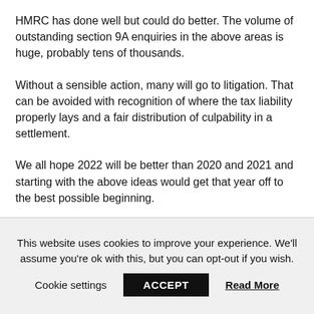HMRC has done well but could do better. The volume of outstanding section 9A enquiries in the above areas is huge, probably tens of thousands.
Without a sensible action, many will go to litigation. That can be avoided with recognition of where the tax liability properly lays and a fair distribution of culpability in a settlement.
We all hope 2022 will be better than 2020 and 2021 and starting with the above ideas would get that year off to the best possible beginning.
This website uses cookies to improve your experience. We'll assume you're ok with this, but you can opt-out if you wish. Cookie settings ACCEPT Read More